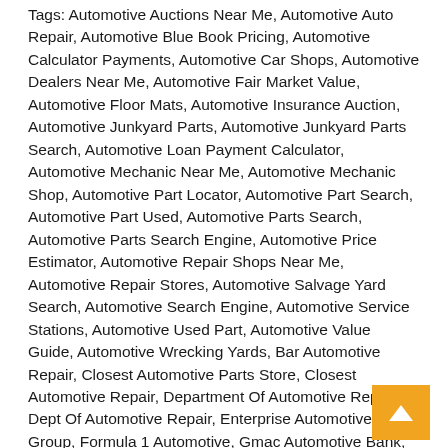Tags: Automotive Auctions Near Me, Automotive Auto Repair, Automotive Blue Book Pricing, Automotive Calculator Payments, Automotive Car Shops, Automotive Dealers Near Me, Automotive Fair Market Value, Automotive Floor Mats, Automotive Insurance Auction, Automotive Junkyard Parts, Automotive Junkyard Parts Search, Automotive Loan Payment Calculator, Automotive Mechanic Near Me, Automotive Mechanic Shop, Automotive Part Locator, Automotive Part Search, Automotive Part Used, Automotive Parts Search, Automotive Parts Search Engine, Automotive Price Estimator, Automotive Repair Shops Near Me, Automotive Repair Stores, Automotive Salvage Yard Search, Automotive Search Engine, Automotive Service Stations, Automotive Used Part, Automotive Value Guide, Automotive Wrecking Yards, Bar Automotive Repair, Closest Automotive Parts Store, Closest Automotive Repair, Department Of Automotive Repair, Dept Of Automotive Repair, Enterprise Automotive Group, Formula 1 Automotive, Gmac Automotive Bank, Honda Automotive Finance, Local Automotive Service, Online Auctions Automotive, Pep Boys Automotive, Pet Boys Automotive, Automotive Irvine, State Farm Automotive Insurance, Surf Automotive Parts, Triple A Automotive Service, Used